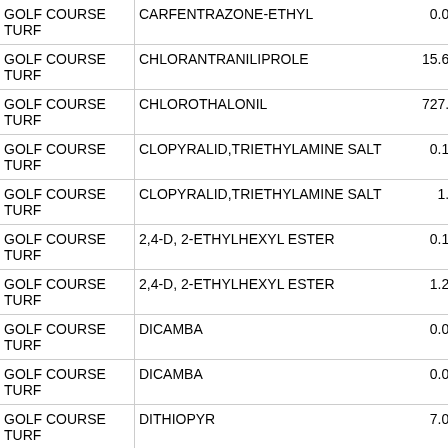| Site | Chemical | Value |
| --- | --- | --- |
| GOLF COURSE TURF | CARFENTRAZONE-ETHYL | 0.06 |
| GOLF COURSE TURF | CHLORANTRANILIPROLE | 15.67 |
| GOLF COURSE TURF | CHLOROTHALONIL | 727.2 |
| GOLF COURSE TURF | CLOPYRALID,TRIETHYLAMINE SALT | 0.18 |
| GOLF COURSE TURF | CLOPYRALID,TRIETHYLAMINE SALT | 1.3 |
| GOLF COURSE TURF | 2,4-D, 2-ETHYLHEXYL ESTER | 0.12 |
| GOLF COURSE TURF | 2,4-D, 2-ETHYLHEXYL ESTER | 1.24 |
| GOLF COURSE TURF | DICAMBA | 0.01 |
| GOLF COURSE TURF | DICAMBA | 0.08 |
| GOLF COURSE TURF | DITHIOPYR | 7.01 |
| GOLF COURSE TURF |  |  |